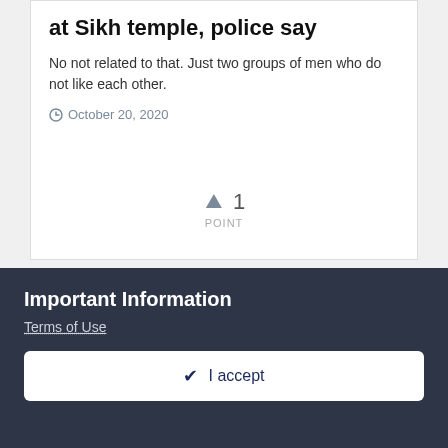at Sikh temple, police say
No not related to that. Just two groups of men who do not like each other.
October 20, 2020
↑ 1
POINT
[Figure (photo): Circular avatar with dark blue background, text reads: KEEP CALM AND TRUST HEGUI]
Ghoor Beadbi of SGGS in ELK GROVE GAY Wedding
Important Information
Terms of Use
✔ I accept